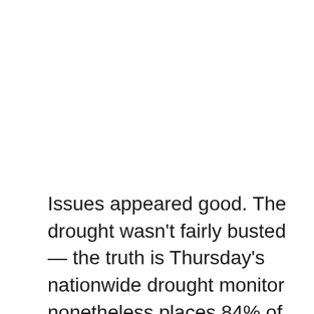Issues appeared good. The drought wasn't fairly busted — the truth is Thursday's nationwide drought monitor nonetheless places 84% of Montana underneath unusually dry or full-fledged drought situations — however it was higher. Then got here an excessive amount of of a moist factor. Heavy rains poured in due to a water-laden environment turbocharged by hotter